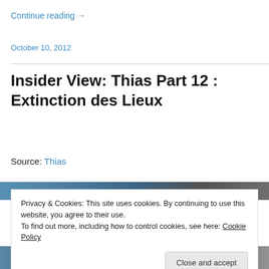Continue reading →
October 10, 2012
Insider View: Thias Part 12 : Extinction des Lieux
Source: Thias
Privacy & Cookies: This site uses cookies. By continuing to use this website, you agree to their use.
To find out more, including how to control cookies, see here: Cookie Policy
Close and accept